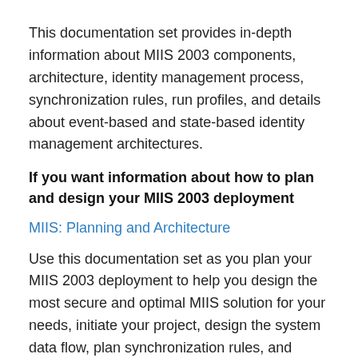This documentation set provides in-depth information about MIIS 2003 components, architecture, identity management process, synchronization rules, run profiles, and details about event-based and state-based identity management architectures.
If you want information about how to plan and design your MIIS 2003 deployment
MIIS: Planning and Architecture
Use this documentation set as you plan your MIIS 2003 deployment to help you design the most secure and optimal MIIS solution for your needs, initiate your project, design the system data flow, plan synchronization rules, and address configuration settings.
If you want to learn about the processes involved in deploying MIIS 2003